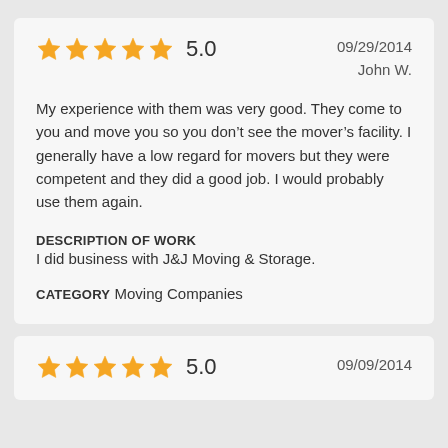5.0   09/29/2014   John W.
My experience with them was very good. They come to you and move you so you don't see the mover's facility. I generally have a low regard for movers but they were competent and they did a good job. I would probably use them again.
DESCRIPTION OF WORK
I did business with J&J Moving & Storage.
CATEGORY Moving Companies
5.0   09/09/2014